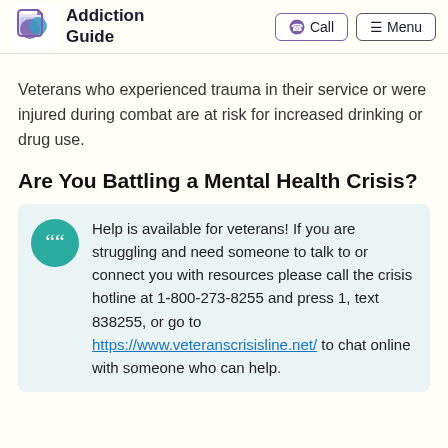Addiction Guide | Call | Menu
Veterans who experienced trauma in their service or were injured during combat are at risk for increased drinking or drug use.
Are You Battling a Mental Health Crisis?
Help is available for veterans! If you are struggling and need someone to talk to or connect you with resources please call the crisis hotline at 1-800-273-8255 and press 1, text 838255, or go to https://www.veteranscrisisline.net/ to chat online with someone who can help.